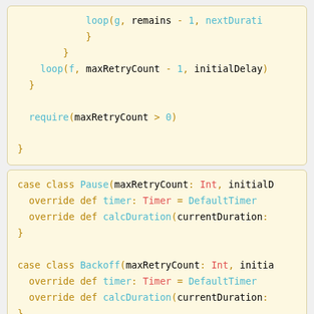[Figure (other): Code block showing Scala code with loop and require statements, top portion of a function]
[Figure (other): Code block showing Scala case class Pause with override def timer and calcDuration, and case class Backoff with override def timer and calcDuration]